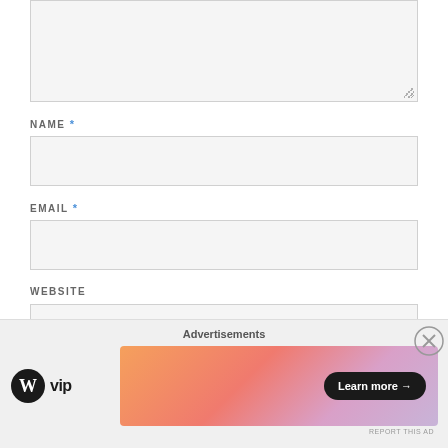[Figure (screenshot): Textarea input field (partially visible) with resize handle at bottom right, on light gray background]
NAME *
[Figure (screenshot): Name text input field, empty, light gray background with border]
EMAIL *
[Figure (screenshot): Email text input field, empty, light gray background with border]
WEBSITE
[Figure (screenshot): Website text input field, partially visible at bottom]
Advertisements
[Figure (logo): WordPress VIP logo with circle W icon and VIP text]
[Figure (illustration): Advertisement banner with orange-pink gradient and Learn more button]